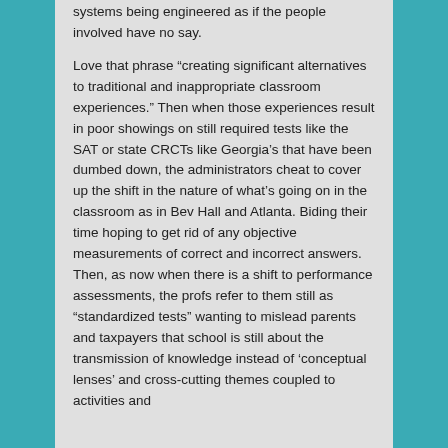systems being engineered as if the people involved have no say.
Love that phrase “creating significant alternatives to traditional and inappropriate classroom experiences.” Then when those experiences result in poor showings on still required tests like the SAT or state CRCTs like Georgia’s that have been dumbed down, the administrators cheat to cover up the shift in the nature of what’s going on in the classroom as in Bev Hall and Atlanta. Biding their time hoping to get rid of any objective measurements of correct and incorrect answers. Then, as now when there is a shift to performance assessments, the profs refer to them still as “standardized tests” wanting to mislead parents and taxpayers that school is still about the transmission of knowledge instead of ‘conceptual lenses’ and cross-cutting themes coupled to activities and